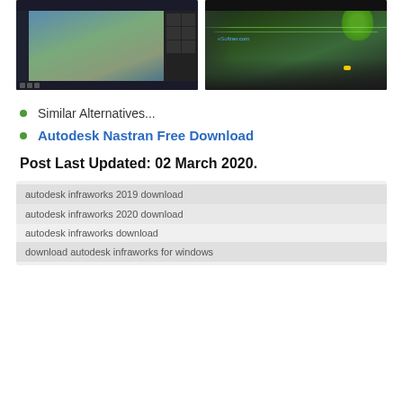[Figure (screenshot): Two side-by-side screenshots of Autodesk InfraWorks software showing 3D city/road modeling. Left screenshot shows aerial view of urban infrastructure. Right screenshot shows road with green trees and yellow car viewed from another angle. Both have eSoftner.com watermark.]
Similar Alternatives...
Autodesk Nastran Free Download
Post Last Updated: 02 March 2020.
autodesk infraworks 2019 download
autodesk infraworks 2020 download
autodesk infraworks download
download autodesk infraworks for windows